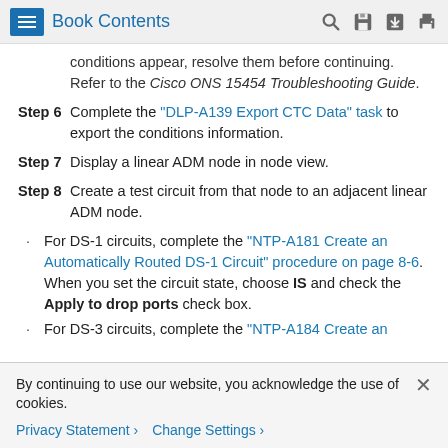Book Contents
conditions appear, resolve them before continuing. Refer to the Cisco ONS 15454 Troubleshooting Guide.
Step 6 Complete the "DLP-A139 Export CTC Data" task to export the conditions information.
Step 7 Display a linear ADM node in node view.
Step 8 Create a test circuit from that node to an adjacent linear ADM node.
• For DS-1 circuits, complete the "NTP-A181 Create an Automatically Routed DS-1 Circuit" procedure on page 8-6. When you set the circuit state, choose IS and check the Apply to drop ports check box.
• For DS-3 circuits, complete the "NTP-A184 Create an
By continuing to use our website, you acknowledge the use of cookies.
Privacy Statement > Change Settings >